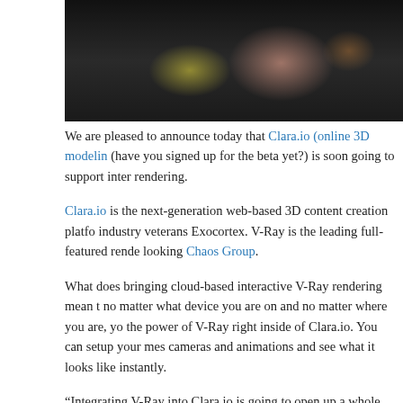[Figure (photo): Dark background photo with blurred colorful subject - appears to show objects with yellow-green and pink/salmon tones against a dark background]
We are pleased to announce today that Clara.io (online 3D modelin... (have you signed up for the beta yet?) is soon going to support inter... rendering.
Clara.io is the next-generation web-based 3D content creation platfo... industry veterans Exocortex. V-Ray is the leading full-featured rende... looking Chaos Group.
What does bringing cloud-based interactive V-Ray rendering mean t... no matter what device you are on and no matter where you are, you... the power of V-Ray right inside of Clara.io. You can setup your mes... cameras and animations and see what it looks like instantly.
“Integrating V-Ray into Clara.io is going to open up a whole new wo... users. Through Clara.io, the power of V-Ray is now available to you... and on any device. And with Clara.io’s powerful real-time collaborat... together has never been easier. The future really is an amazing pla...